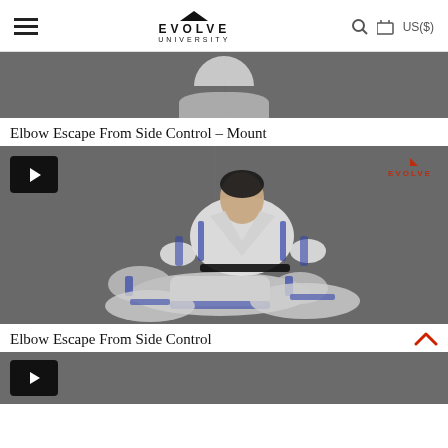EVOLVE UNIVERSITY  US($)
[Figure (screenshot): Cropped top of a BJJ instructional video showing two practitioners in white gi on a gray mat]
Elbow Escape From Side Control – Mount
[Figure (screenshot): BJJ instructional video thumbnail showing two practitioners in white gi, one mounting the other on a gray mat. Play button visible top-left, Evolve logo top-right.]
Elbow Escape From Side Control
[Figure (screenshot): Bottom of another BJJ instructional video, partially cropped]